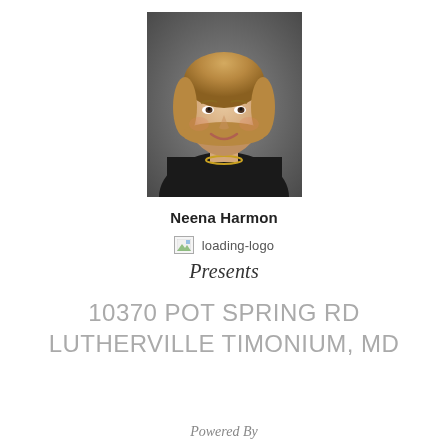[Figure (photo): Professional headshot of a woman with short blonde hair wearing a black jacket and gold necklace, against a grey background.]
Neena Harmon
[Figure (logo): Broken/loading logo image with alt text 'loading-logo']
loading-logo
Presents
10370 POT SPRING RD
LUTHERVILLE TIMONIUM, MD
Powered By